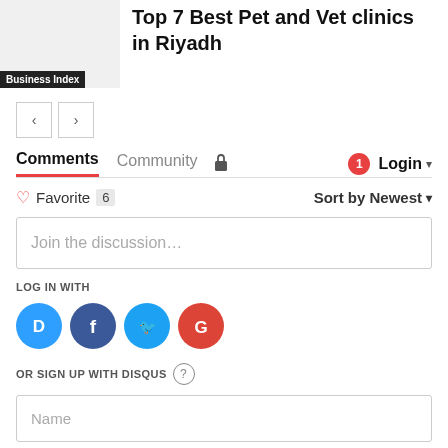[Figure (illustration): Thumbnail image for a Business Index article, gray placeholder with 'Business Index' label overlay]
Top 7 Best Pet and Vet clinics in Riyadh
[Figure (infographic): Navigation buttons with left and right arrow icons]
Comments
Community
Login
Favorite 6
Sort by Newest
Join the discussion...
LOG IN WITH
[Figure (logo): Disqus logo icon - blue circle with D]
[Figure (logo): Facebook logo icon - dark blue circle with f]
[Figure (logo): Twitter logo icon - light blue circle with bird]
[Figure (logo): Google logo icon - red circle with G]
OR SIGN UP WITH DISQUS
Name